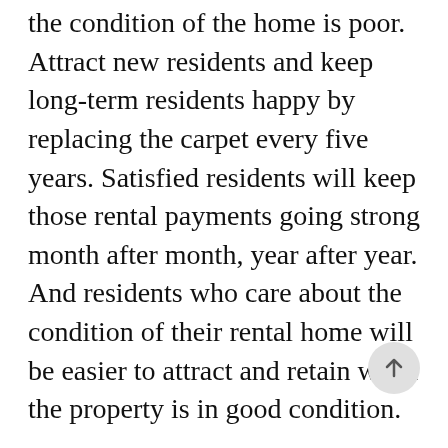the condition of the home is poor. Attract new residents and keep long-term residents happy by replacing the carpet every five years. Satisfied residents will keep those rental payments going strong month after month, year after year. And residents who care about the condition of their rental home will be easier to attract and retain when the property is in good condition.
In terms of added value, a new carpet is a relatively easy and inexpensive update that promises a return far in excess of the cost. Property values and perceived value will increase, expanding your investment's earning potential. When tax time rolls around, new carpet can be deducted as a